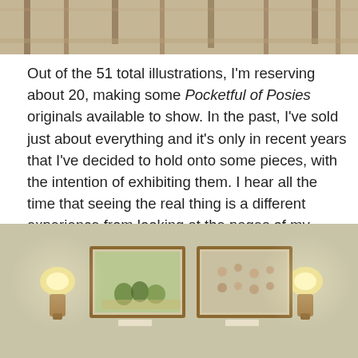[Figure (photo): Top portion of a photo showing chairs and tables in what appears to be a room interior, cropped at the bottom.]
Out of the 51 total illustrations, I'm reserving about 20, making some Pocketful of Posies originals available to show. In the past, I've sold just about everything and it's only in recent years that I've decided to hold onto some pieces, with the intention of exhibiting them. I hear all the time that seeing the real thing is a different experience from looking at the pages of my books. With this in mind, it is important to me that my work be shown in public places and be accessible to as many people as possible.
[Figure (photo): Photo of two framed illustrations displayed on a wall with wall sconce lights on either side, in what appears to be a gallery or library setting.]